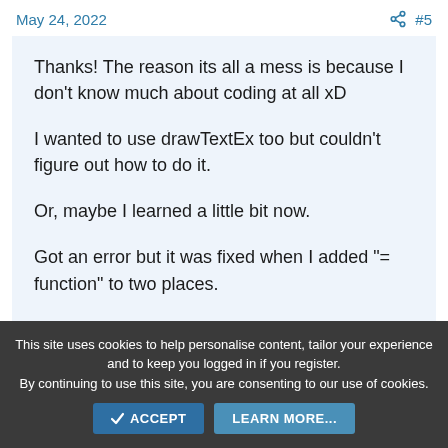May 24, 2022   #5
Thanks! The reason its all a mess is because I don't know much about coding at all xD

I wanted to use drawTextEx too but couldn't figure out how to do it.

Or, maybe I learned a little bit now.

Got an error but it was fixed when I added "= function" to two places.

I don't even have a clue what that means but it seems to have worked (Maybe its not fixed?)
This site uses cookies to help personalise content, tailor your experience and to keep you logged in if you register. By continuing to use this site, you are consenting to our use of cookies. ACCEPT   LEARN MORE...